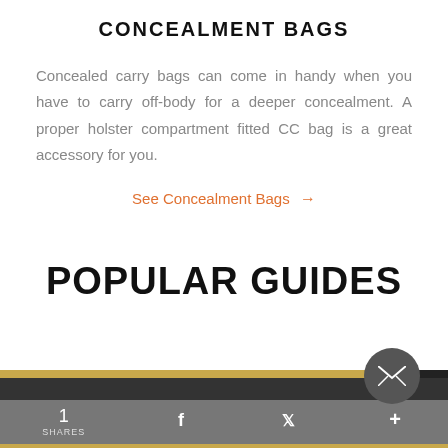CONCEALMENT BAGS
Concealed carry bags can come in handy when you have to carry off-body for a deeper concealment. A proper holster compartment fitted CC bag is a great accessory for you.
See Concealment Bags →
POPULAR GUIDES
[Figure (other): Bottom page bar with email subscribe circle button, social share icons (Facebook, Twitter, plus), and share count of 1. Dark and gold horizontal bars.]